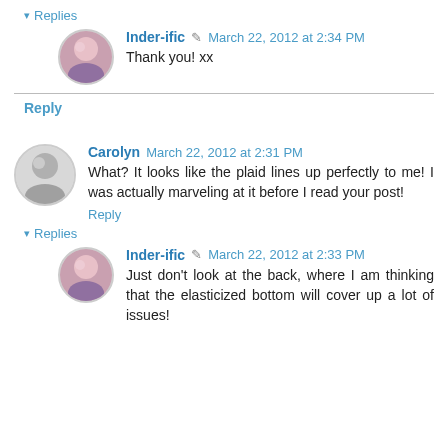▾ Replies
Inder-ific March 22, 2012 at 2:34 PM
Thank you! xx
Reply
Carolyn March 22, 2012 at 2:31 PM
What? It looks like the plaid lines up perfectly to me! I was actually marveling at it before I read your post!
Reply
▾ Replies
Inder-ific March 22, 2012 at 2:33 PM
Just don't look at the back, where I am thinking that the elasticized bottom will cover up a lot of issues!